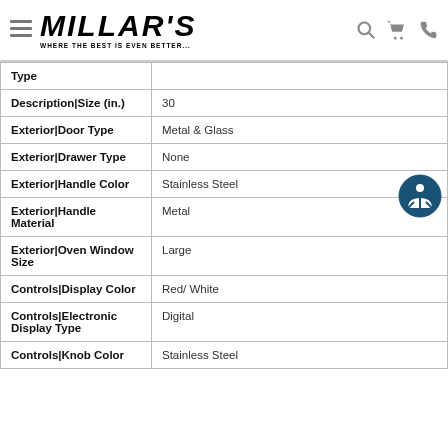Millar's — Where the best is even better...
| Attribute | Value |
| --- | --- |
| Type |  |
| Description|Size (in.) | 30 |
| Exterior|Door Type | Metal & Glass |
| Exterior|Drawer Type | None |
| Exterior|Handle Color | Stainless Steel |
| Exterior|Handle Material | Metal |
| Exterior|Oven Window Size | Large |
| Controls|Display Color | Red/ White |
| Controls|Electronic Display Type | Digital |
| Controls|Knob Color | Stainless Steel |